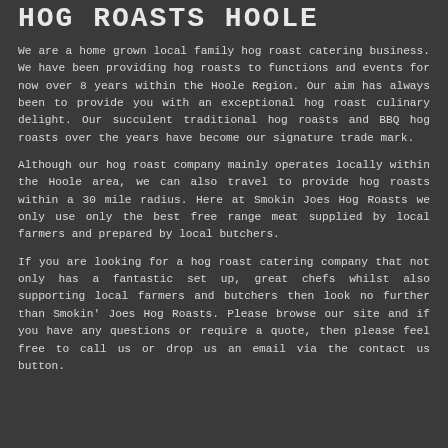HOG ROASTS HOOLE
We are a home grown local family hog roast catering business. We have been providing hog roasts to functions and events for now over 8 years within the Hoole Region. Our aim has always been to provide you with an exceptional hog roast culinary delight. Our succulent traditional hog roasts and BBQ hog roasts over the years have become our signature trade mark.
Although our hog roast company mainly operates locally within the Hoole area, we can also travel to provide hog roasts within a 30 mile radius. Here at Smokin Joes Hog Roasts we only use only the best free range meat supplied by local farmers and prepared by local butchers.
If you are looking for a hog roast catering company that not only has a fantastic set up, great chefs whilst also supporting local farmers and butchers then look no further than Smokin' Joes Hog Roasts. Please browse our site and if you have any questions or require a quote, then please feel free to call us or drop us an email via the contact us button.